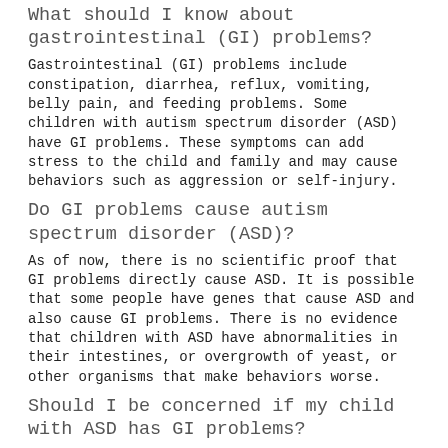What should I know about gastrointestinal (GI) problems?
Gastrointestinal (GI) problems include constipation, diarrhea, reflux, vomiting, belly pain, and feeding problems. Some children with autism spectrum disorder (ASD) have GI problems. These symptoms can add stress to the child and family and may cause behaviors such as aggression or self-injury.
Do GI problems cause autism spectrum disorder (ASD)?
As of now, there is no scientific proof that GI problems directly cause ASD. It is possible that some people have genes that cause ASD and also cause GI problems. There is no evidence that children with ASD have abnormalities in their intestines, or overgrowth of yeast, or other organisms that make behaviors worse.
Should I be concerned if my child with ASD has GI problems?
A child with ASD who has GI problems should be examined just as any other child would be. Constipation